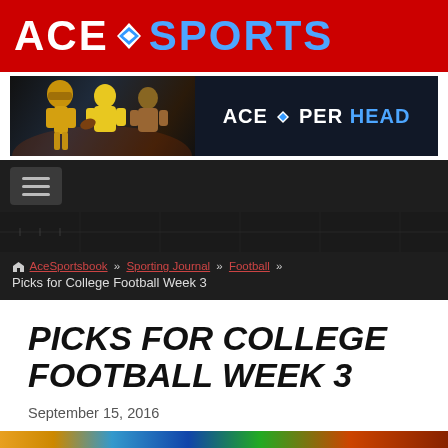ACE SPORTS
[Figure (screenshot): Ace Per Head banner advertisement with football players silhouette on dark background]
[Figure (other): Navigation hamburger menu button on dark background]
[Figure (photo): Dark hero image strip, partial view of football field]
AceSportsbook » Sporting Journal » Football » Picks for College Football Week 3
PICKS FOR COLLEGE FOOTBALL WEEK 3
September 15, 2016